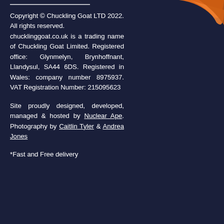[Figure (logo): Orange Chuckling Goat logo, partial view showing orange curved shape on dark navy background, top right corner]
Copyright © Chuckling Goat LTD 2022. All rights reserved. chucklinggoat.co.uk is a trading name of Chuckling Goat Limited. Registered office: Glynmelyn, Brynhoffnant, Llandysul, SA44 6DS. Registered in Wales: company number 8975937. VAT Registration Number: 215095623
Site proudly designed, developed, managed & hosted by Nuclear Ape. Photography by Caitlin Tyler & Andrea Jones
*Fast and Free delivery